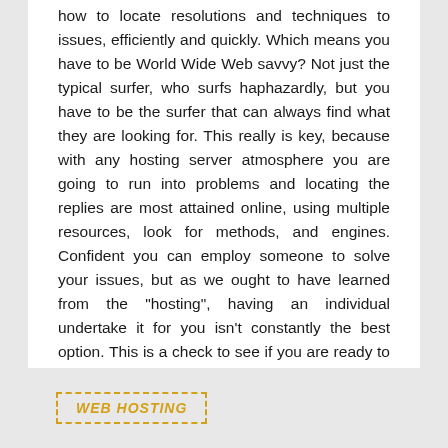how to locate resolutions and techniques to issues, efficiently and quickly. Which means you have to be World Wide Web savvy? Not just the typical surfer, who surfs haphazardly, but you have to be the surfer that can always find what they are looking for. This really is key, because with any hosting server atmosphere you are going to run into problems and locating the replies are most attained online, using multiple resources, look for methods, and engines. Confident you can employ someone to solve your issues, but as we ought to have learned from the "hosting", having an individual undertake it for you isn't constantly the best option. This is a check to see if you are ready to get solutions. I needed a strategy to a Microsoft Windows 2003 Server Event Mistake – "Event ID: 1056" it's a DHCP Web server Fault. Would you research? Just does it discover the solution.
WEB HOSTING